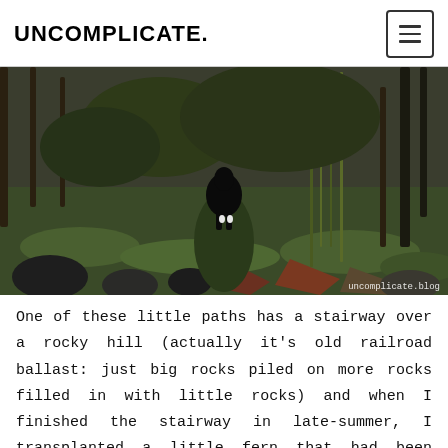UNCOMPLICATE.
[Figure (photo): A black dog walking along a mossy woodland path surrounded by rocks, vegetation, and trees. Watermark reads 'uncomplicate.blog' in lower right corner.]
One of these little paths has a stairway over a rocky hill (actually it's old railroad ballast: just big rocks piled on more rocks filled in with little rocks) and when I finished the stairway in late-summer, I transplanted a little fern that had been growing in the center of the path. It was the hottest driest part